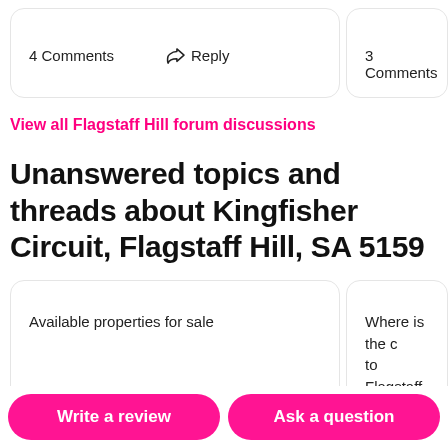4 Comments   Reply
3 Comments
View all Flagstaff Hill forum discussions
Unanswered topics and threads about Kingfisher Circuit, Flagstaff Hill, SA 5159
Available properties for sale
Where is the c... to Flagstaff H...
Write a review
Ask a question